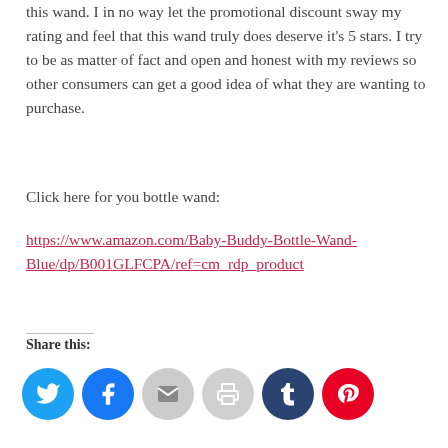this wand. I in no way let the promotional discount sway my rating and feel that this wand truly does deserve it's 5 stars. I try to be as matter of fact and open and honest with my reviews so other consumers can get a good idea of what they are wanting to purchase.
Click here for you bottle wand:
https://www.amazon.com/Baby-Buddy-Bottle-Wand-Blue/dp/B001GLFCPA/ref=cm_rdp_product
Share this: